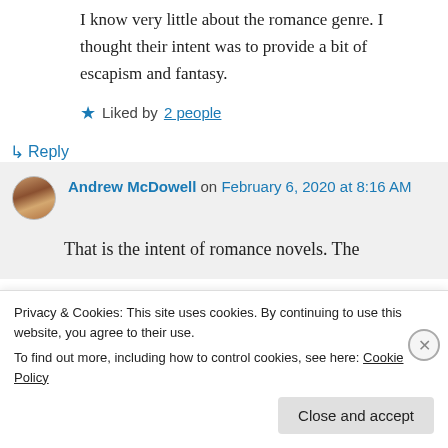I know very little about the romance genre. I thought their intent was to provide a bit of escapism and fantasy.
★ Liked by 2 people
↳ Reply
Andrew McDowell on February 6, 2020 at 8:16 AM
That is the intent of romance novels. The
Privacy & Cookies: This site uses cookies. By continuing to use this website, you agree to their use.
To find out more, including how to control cookies, see here: Cookie Policy
Close and accept